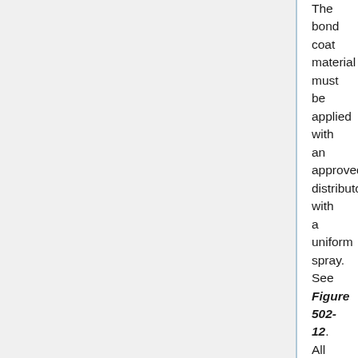The bond coat material must be applied with an approved distributor with a uniform spray. See Figure 502-12. All nozzles on the distributor should be open and functioning. All nozzles should be turned at the same angle to the spray bar: approximately 30 degrees, depending upon the manufacturer's recommendations. In addition, the spray bar should be set at the proper height above the pavement surface to provide for a double or triple lap of the liquid asphalt materials. The bond coat material should be heated to the proper temperature so that it is fluid enough to be sprayed from the nozzles.
A bond coat is an application of an asphaltic emulsion to an existing surface as a bond or tack coat ensuring adhesion with the overlying surface and